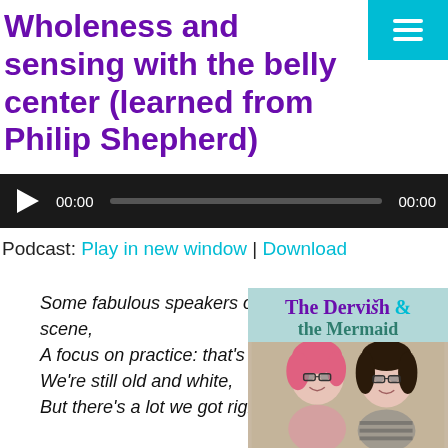Wholeness and sensing with the belly center (learned from Philip Shepherd)
[Figure (other): Audio player with play button, progress bar, and timestamps showing 00:00]
Podcast: Play in new window | Download
Some fabulous speakers on scene,
A focus on practice: that's keen.
We're still old and white,
But there's a lot we got right,
[Figure (illustration): The Dervish & the Mermaid podcast logo with two women smiling]